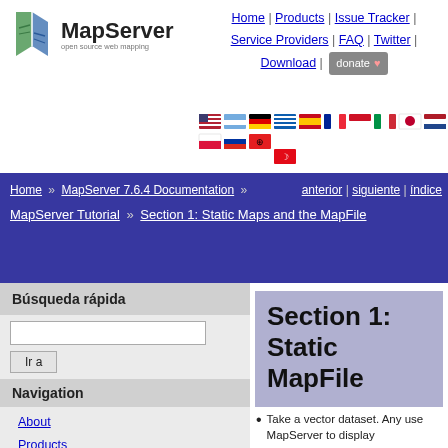[Figure (logo): MapServer logo with green leaf icon and text 'MapServer - open source web mapping']
Home | Products | Issue Tracker | Service Providers | FAQ | Twitter | Download | donate
[Figure (illustration): Row of country flag icons for language selection]
Home » MapServer 7.6.4 Documentation » MapServer Tutorial » Section 1: Static Maps and the MapFile
anterior | siguiente | índice
Búsqueda rápida
Navigation
About
Products
Community
Development
Downloads
Documentation
FAQ
Section 1: Static Maps and the MapFile
Take a vector dataset. Any use MapServer to display
Example 1.1 - A ma
We can display the same the polygon attributes in o
Example 1.2 - A ma
And we can select which p do this using the CLASS o
Example 1.3 - Usin